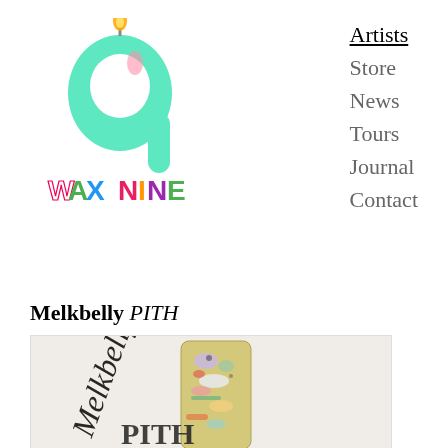[Figure (logo): Wax Nine logo: a mint green number 9 with a birthday candle flame on top, and 'WAX NINE' written below in colorful hand-drawn lettering]
Artists
Store
News
Tours
Journal
Contact
Melkbelly PITH
[Figure (photo): Album artwork photo showing a handwritten 'Melkbelly' text and a cracker/flatbread topped with various colorful food items on a white background, with 'PITH' written at the bottom in marker]